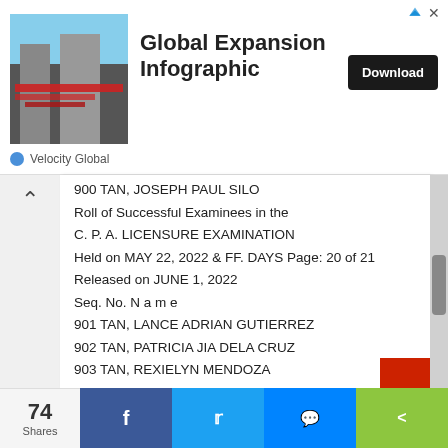[Figure (infographic): Advertisement banner for 'Global Expansion Infographic' by Velocity Global, with a city street photo and a Download button]
900 TAN, JOSEPH PAUL SILO
Roll of Successful Examinees in the
C. P. A. LICENSURE EXAMINATION
Held on MAY 22, 2022 & FF. DAYS Page: 20 of 21
Released on JUNE 1, 2022
Seq. No. N a m e
901 TAN, LANCE ADRIAN GUTIERREZ
902 TAN, PATRICIA JIA DELA CRUZ
903 TAN, REXIELYN MENDOZA
904 TAN, SOFIA NICA SAYSON
905 TAN, STEPHANIE NICOLE CHING
906 TANGA-AN, LADY HERME ALCOS